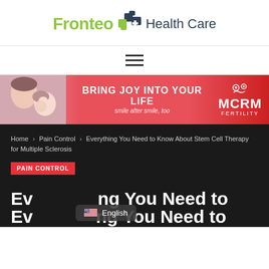[Figure (logo): Fronteo Health Care logo with puzzle piece icon, green and dark blue text]
[Figure (illustration): Hamburger menu icon (three horizontal lines)]
[Figure (illustration): MCRM Fertility banner advertisement: 'BRING JOY INTO YOUR LIFE, smile after smile, too' with mother and baby photo]
Home > Pain Control > Everything You Need to Know About Stem Cell Therapy for Multiple Sclerosis
PAIN CONTROL
Everything You Need to Know About Stem Cell Therapy for Multiple Sclerosis